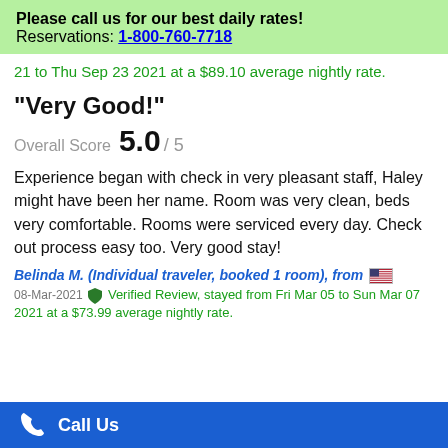Please call us for our best daily rates! Reservations: 1-800-760-7718
21 to Thu Sep 23 2021 at a $89.10 average nightly rate.
"Very Good!"
Overall Score 5.0 / 5
Experience began with check in very pleasant staff, Haley might have been her name. Room was very clean, beds very comfortable. Rooms were serviced every day. Check out process easy too. Very good stay!
Belinda M. (Individual traveler, booked 1 room), from 🇺🇸
08-Mar-2021 🛡 Verified Review, stayed from Fri Mar 05 to Sun Mar 07 2021 at a $73.99 average nightly rate.
Call Us